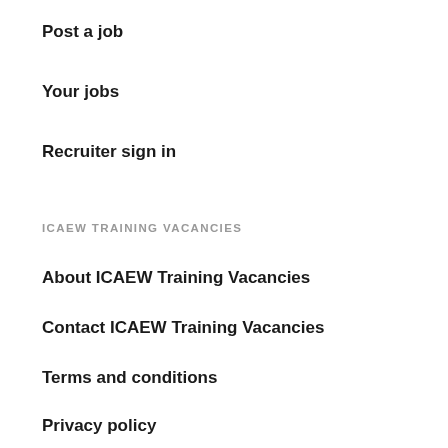Post a job
Your jobs
Recruiter sign in
ICAEW TRAINING VACANCIES
About ICAEW Training Vacancies
Contact ICAEW Training Vacancies
Terms and conditions
Privacy policy
OTHER SITES
ICAEW Careers